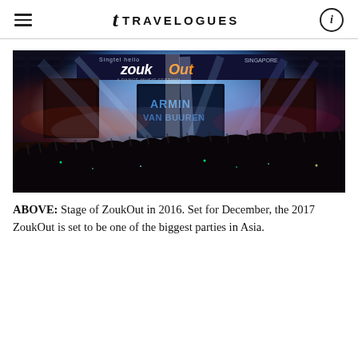TRAVELOGUES
[Figure (photo): Stage of ZoukOut music festival in 2016, showing bright stage lights in blue, red and white illuminating a large crowd. A banner reading 'ZoukOut' and 'ARMIN' visible on stage.]
ABOVE: Stage of ZoukOut in 2016. Set for December, the 2017 ZoukOut is set to be one of the biggest parties in Asia.